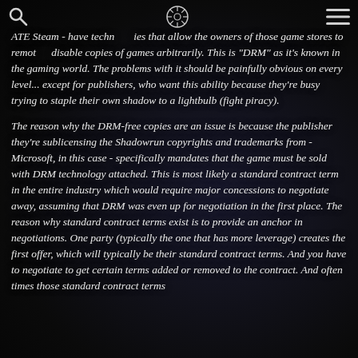[icons: search, wheel/logo, menu]
ATE Steam - have technologies that allow the owners of those game stores to remotely disable copies of games arbitrarily. This is "DRM" as it's known in the gaming world. The problems with it should be painfully obvious on every level... except for publishers, who want this ability because they're busy trying to staple their own shadow to a lightbulb (fight piracy).
The reason why the DRM-free copies are an issue is because the publisher they're sublicensing the Shadowrun copyrights and trademarks from - Microsoft, in this case - specifically mandates that the game must be sold with DRM technology attached. This is most likely a standard contract term in the entire industry which would require major concessions to negotiate away, assuming that DRM was even up for negotiation in the first place. The reason why standard contract terms exist is to provide an anchor in negotiations. One party (typically the one that has more leverage) creates the first offer, which will typically be their standard contract terms. And you have to negotiate to get certain terms added or removed to the contract. And often times those standard contract terms